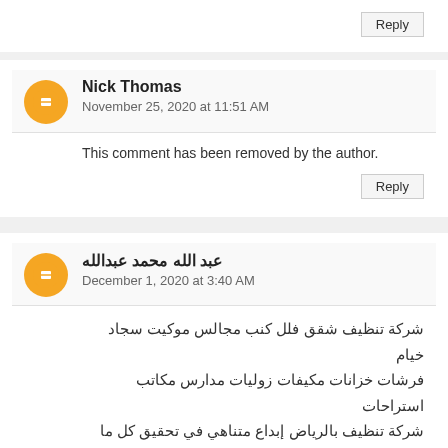Reply
Nick Thomas
November 25, 2020 at 11:51 AM
This comment has been removed by the author.
Reply
عبد الله محمد عبدالله
December 1, 2020 at 3:40 AM
شركة تنظيف شقق فلل كنب مجالس موكيت سجاد خيام فرشات خزانات مكيفات زوليات مدارس مكاتب استراحات شركة تنظيف بالرياض إبداع متناهي في تحقيق كل ما تبية شركة غسيل فيلا شقه خيم بيت شعر التعقيم التنشيف التجفيف التنظيف المثالي شركة تنظيف واجهات بالرياض افضل شركة تنظيف شقق بالرياض